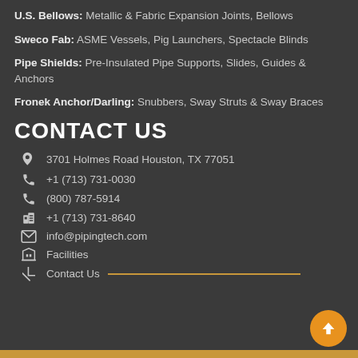U.S. Bellows: Metallic & Fabric Expansion Joints, Bellows
Sweco Fab: ASME Vessels, Pig Launchers, Spectacle Blinds
Pipe Shields: Pre-Insulated Pipe Supports, Slides, Guides & Anchors
Fronek Anchor/Darling: Snubbers, Sway Struts & Sway Braces
CONTACT US
3701 Holmes Road Houston, TX 77051
+1 (713) 731-0030
(800) 787-5914
+1 (713) 731-8640
info@pipingtech.com
Facilities
Contact Us